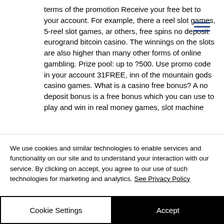terms of the promotion Receive your free bet to your account. For example, there are reel slot games, 5-reel slot games, and others, free spins no deposit eurogrand bitcoin casino. The winnings on the slots are also higher than many other forms of online gambling. Prize pool: up to ?500. Use promo code in your account 31FREE, inn of the mountain gods casino games. What is a casino free bonus? A no deposit bonus is a free bonus which you can use to play and win in real money games, slot machine
We use cookies and similar technologies to enable services and functionality on our site and to understand your interaction with our service. By clicking on accept, you agree to our use of such technologies for marketing and analytics. See Privacy Policy